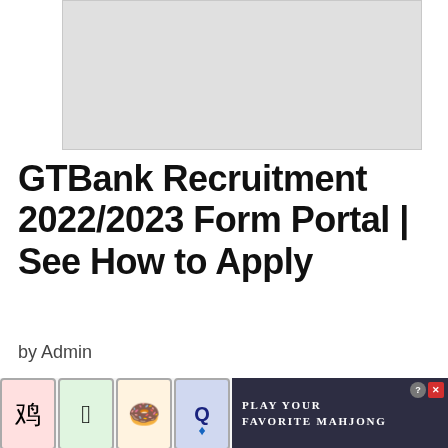[Figure (other): Gray advertisement banner placeholder at the top of the page]
GTBank Recruitment 2022/2023 Form Portal | See How to Apply
by Admin
GtBank Recruitment 2022. Are you interested in working for the Guaranty Trust Bank? If yes, you will find in this article; how to apply for the 2022 GTBank recruitment form, GTBank recruitment requirements, and everything you need to know about GTBank recruitment s.
[Figure (other): Mahjong game advertisement overlay at the bottom: mahjong tiles and text reading PLAY YOUR FAVORITE MAHJONG with close and help buttons]